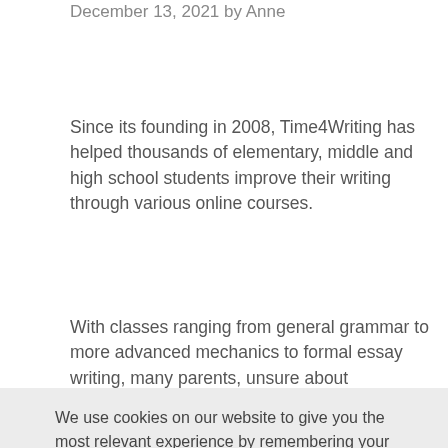December 13, 2021 by Anne
Since its founding in 2008, Time4Writing has helped thousands of elementary, middle and high school students improve their writing through various online courses.
With classes ranging from general grammar to more advanced mechanics to formal essay writing, many parents, unsure about
We use cookies on our website to give you the most relevant experience by remembering your preferences and repeat visits. See our Privacy Policy and Cookie Policy for more information. By clicking “Accept”, you consent to the use of all the cookies.
Cookie settings
ACCEPT